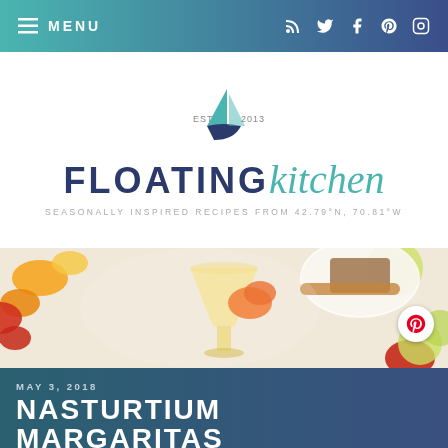MENU
[Figure (logo): Floating Kitchen blog logo with sailboat icon, EST. 2013, FLOATING kitchen text, tagline: SEASONALLY INSPIRED RECIPES FROM 42.79°N, 70.81°W]
[Figure (photo): Food photography showing a margarita cocktail garnished with nasturtium flowers and a salted rim, surrounded by limes, red flowers, and spices on a white background]
MAY 3, 2018
NASTURTIUM MARGARITAS